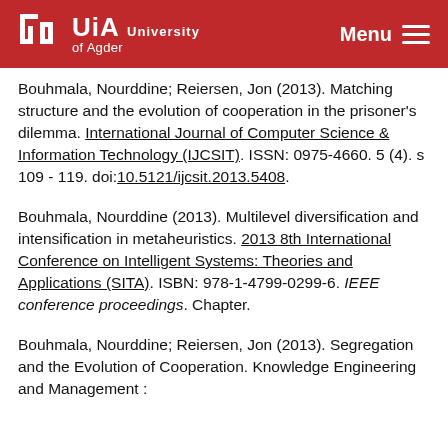UiA University of Agder | Menu
Bouhmala, Nourddine; Reiersen, Jon (2013). Matching structure and the evolution of cooperation in the prisoner's dilemma. International Journal of Computer Science & Information Technology (IJCSIT). ISSN: 0975-4660. 5 (4). s 109 - 119. doi:10.5121/ijcsit.2013.5408.
Bouhmala, Nourddine (2013). Multilevel diversification and intensification in metaheuristics. 2013 8th International Conference on Intelligent Systems: Theories and Applications (SITA). ISBN: 978-1-4799-0299-6. IEEE conference proceedings. Chapter.
Bouhmala, Nourddine; Reiersen, Jon (2013). Segregation and the Evolution of Cooperation. Knowledge Engineering and Management :